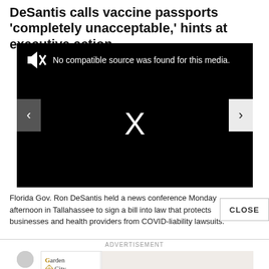DeSantis calls vaccine passports 'completely unacceptable,' hints at executive action
[Figure (screenshot): Black video player showing 'No compatible source was found for this media.' with a mute icon, navigation arrows on left and right, and a large white X in the center]
Florida Gov. Ron DeSantis held a news conference Monday afternoon in Tallahassee to sign a bill into law that protects businesses and health providers from COVID-liability lawsuits.
[Figure (logo): Garden City Granite advertisement banner with gold and black serif text logo]